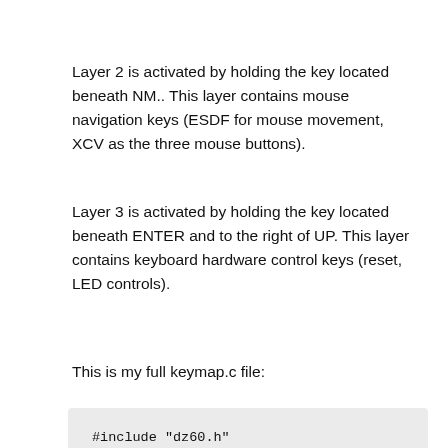Layer 2 is activated by holding the key located beneath NM.. This layer contains mouse navigation keys (ESDF for mouse movement, XCV as the three mouse buttons).
Layer 3 is activated by holding the key located beneath ENTER and to the right of UP. This layer contains keyboard hardware control keys (reset, LED controls).
This is my full keymap.c file:
#include "dz60.h"
#define __         KC_TRNS
#define ___        KC_TRNS
#define ________   KC_TRNS
#define HY         KC_HYPR
#define LST        KC_LSFT
#define SR_MO1     LT(1,  KC_SPC)